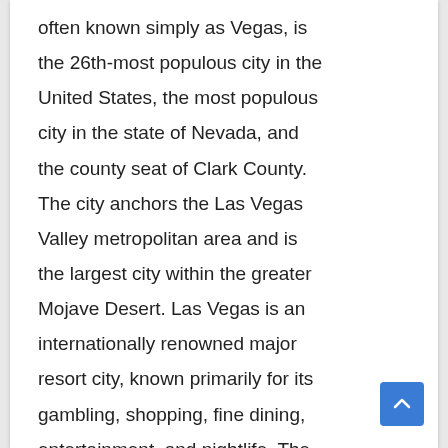often known simply as Vegas, is the 26th-most populous city in the United States, the most populous city in the state of Nevada, and the county seat of Clark County. The city anchors the Las Vegas Valley metropolitan area and is the largest city within the greater Mojave Desert. Las Vegas is an internationally renowned major resort city, known primarily for its gambling, shopping, fine dining, entertainment, and nightlife. The Las Vegas Valley as a whole serves as the leading financial, commercial, and cultural center for Nevada. The city bills itself as The Entertainment Capital of the World, and is famous for its luxurious and extremely large casino-hotels together with their associated activities.